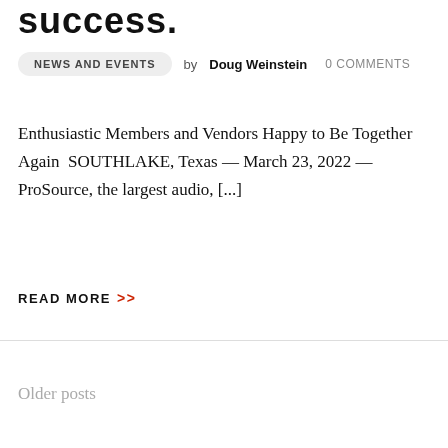success.
NEWS AND EVENTS  by Doug Weinstein  0 COMMENTS
Enthusiastic Members and Vendors Happy to Be Together Again  SOUTHLAKE, Texas — March 23, 2022 — ProSource, the largest audio, [...]
READ MORE >>
Older posts